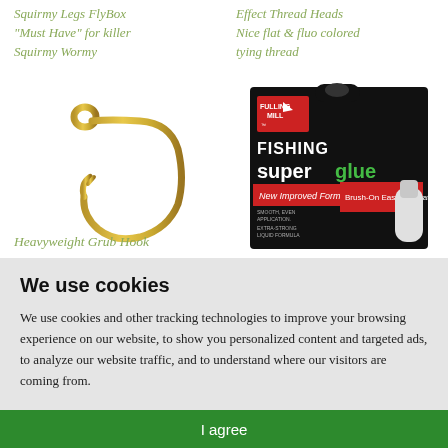Squirmy Legs FlyBox "Must Have" for killer Squirmy Wormy
Effect Thread Heads Nice flat & fluo colored tying thread
[Figure (photo): Gold/bronze fishing hook - Heavyweight Grub Hook]
[Figure (photo): Fulling Mill Fishing Superglue product in black packaging with red label, New Improved Formula, Brush-On Easy Application]
Heavyweight Grub Hook
We use cookies
We use cookies and other tracking technologies to improve your browsing experience on our website, to show you personalized content and targeted ads, to analyze our website traffic, and to understand where our visitors are coming from.
I agree